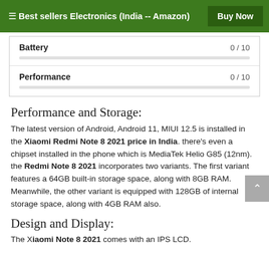☰ Best sellers Electronics (India -- Amazon)  Buy Now
| Battery | 0 / 10 |
| Performance | 0 / 10 |
Performance and Storage:
The latest version of Android, Android 11, MIUI 12.5 is installed in the Xiaomi Redmi Note 8 2021 price in India. there's even a chipset installed in the phone which is MediaTek Helio G85 (12nm). the Redmi Note 8 2021 incorporates two variants. The first variant features a 64GB built-in storage space, along with 8GB RAM. Meanwhile, the other variant is equipped with 128GB of internal storage space, along with 4GB RAM also.
Design and Display:
The Xiaomi Note 8 2021 comes with an IPS LCD.